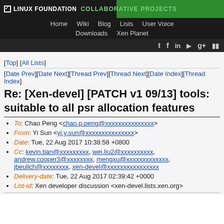LINUX FOUNDATION COLLABORATIVE PROJECTS | Home | Wiki | Blog | Lists | User Voice | Downloads | Xen Planet
[Top] [All Lists]
[Date Prev][Date Next][Thread Prev][Thread Next][Date Index][Thread Index]
Re: [Xen-devel] [PATCH v1 09/13] tools: suitable to all psr allocation features
To: Chao Peng <chao.p.peng@xxxxxxxxxxxxxxx>
From: Yi Sun <yi.y.sun@xxxxxxxxxxxxxxx>
Date: Tue, 22 Aug 2017 10:38:58 +0800
Cc: kevin.tian@xxxxxxxxx, wei.liu2@xxxxxxxxxx, andrew.cooper3@xxxxxxxx, mengxu@xxxxxxxxxxxxx, jbeulich@xxxxxxxx, xen-devel@xxxxxxxxxxxxxxxx
Delivery-date: Tue, 22 Aug 2017 02:39:42 +0000
List-id: Xen developer discussion <xen-devel.lists.xen.org>